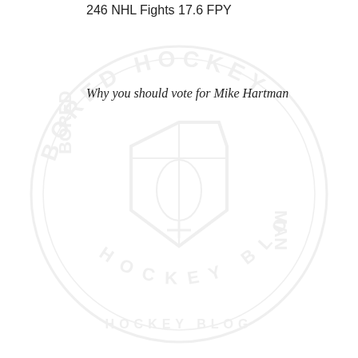246 NHL Fights 17.6 FPY
[Figure (logo): Bored Hockey Blog watermark logo — circular seal with NHL shield and text reading BORED HOCKEY BLOG around the perimeter, shown in light gray as a background watermark]
Why you should vote for Mike Hartman